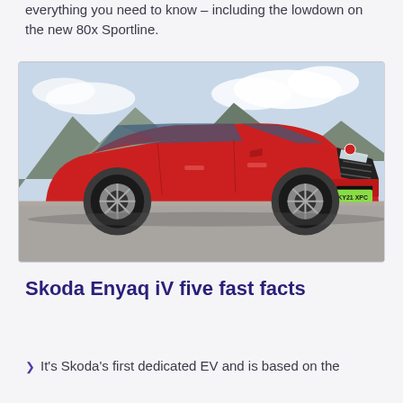everything you need to know – including the lowdown on the new 80x Sportline.
[Figure (photo): Red Skoda Enyaq iV electric SUV parked in front of mountains, registration plate KY21 XPC]
Skoda Enyaq iV five fast facts
It's Skoda's first dedicated EV and is based on the